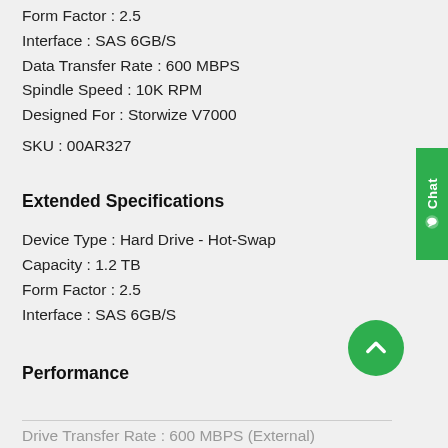Form Factor : 2.5
Interface : SAS 6GB/S
Data Transfer Rate : 600 MBPS
Spindle Speed : 10K RPM
Designed For : Storwize V7000
SKU : 00AR327
Extended Specifications
Device Type : Hard Drive - Hot-Swap
Capacity : 1.2 TB
Form Factor : 2.5
Interface : SAS 6GB/S
Performance
Drive Transfer Rate : 600 MBPS (External)